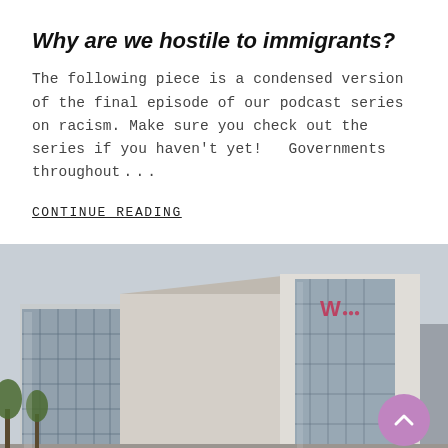Why are we hostile to immigrants?
The following piece is a condensed version of the final episode of our podcast series on racism. Make sure you check out the series if you haven't yet!   Governments throughout . . .
CONTINUE READING
[Figure (photo): Exterior photograph of a modern glass and concrete commercial or civic building with large glass facades and a logo on the upper right. Street scene with trees and another building visible on the right.]